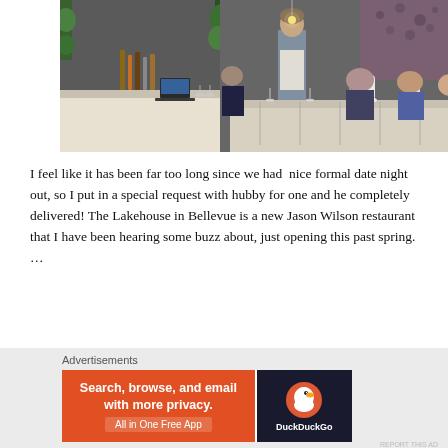[Figure (photo): Interior of The Lakehouse restaurant in Bellevue showing a waiter in an apron, diners seated at a long table, bar area with bottles, and green plant decorations on white walls.]
I feel like it has been far too long since we had nice formal date night out, so I put in a special request with hubby for one and he completely delivered! The Lakehouse in Bellevue is a new Jason Wilson restaurant that I have been hearing some buzz about, just opening this past spring. …
Continue reading
Advertisements
[Figure (screenshot): DuckDuckGo advertisement banner: orange section reads 'Search, browse, and email with more privacy. All in One Free App', dark section shows DuckDuckGo duck logo and name.]